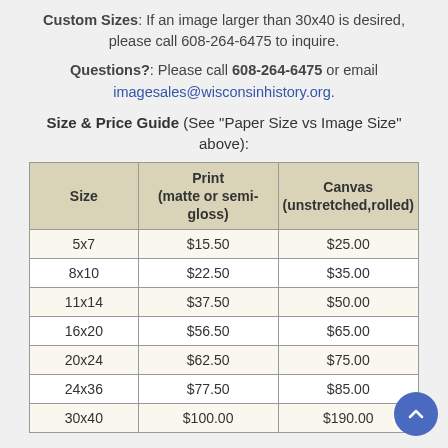Custom Sizes: If an image larger than 30x40 is desired, please call 608-264-6475 to inquire.
Questions?: Please call 608-264-6475 or email imagesales@wisconsinhistory.org.
Size & Price Guide (See "Paper Size vs Image Size" above):
| Size | Print
(matte or semi-gloss) | Canvas
(unstretched,rolled) |
| --- | --- | --- |
| 5x7 | $15.50 | $25.00 |
| 8x10 | $22.50 | $35.00 |
| 11x14 | $37.50 | $50.00 |
| 16x20 | $56.50 | $65.00 |
| 20x24 | $62.50 | $75.00 |
| 24x36 | $77.50 | $85.00 |
| 30x40 | $100.00 | $190.00 |